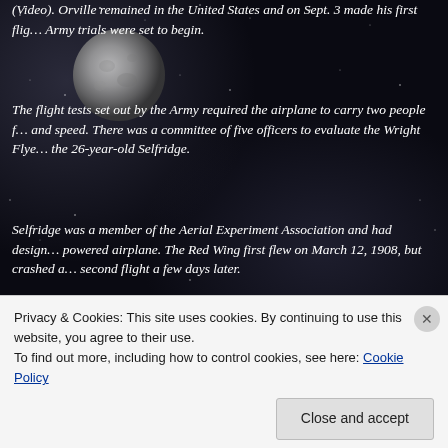(Video). Orville remained in the United States and on Sept. 3 made his first flight. Army trials were set to begin.
[Figure (photo): Grayscale photo of the moon, upper left area]
The flight tests set out by the Army required the airplane to carry two people for endurance and speed. There was a committee of five officers to evaluate the Wright Flyer, including the 26-year-old Selfridge.
Selfridge was a member of the Aerial Experiment Association and had designed the first powered airplane. The Red Wing first flew on March 12, 1908, but crashed and was destroyed on its second flight a few days later.
[Figure (photo): Grayscale photo of the moon, center right area]
During the first two weeks of September Orville made 15 flights at Fort Myer. He set records on Sept. 9, including a 62-minute flight and the first public passenger flight. By Sept. 9 he had flown more than 74 minutes in a single flight and carried Maj. George Squier for more than nine minutes in flight.
On Sept. 17 Orville was flying Selfridge on another of the test flights. Three or four minutes into the flight, a blade on one of the two wooden propellers split and caused the engine to vibrate.
Privacy & Cookies: This site uses cookies. By continuing to use this website, you agree to their use.
To find out more, including how to control cookies, see here: Cookie Policy